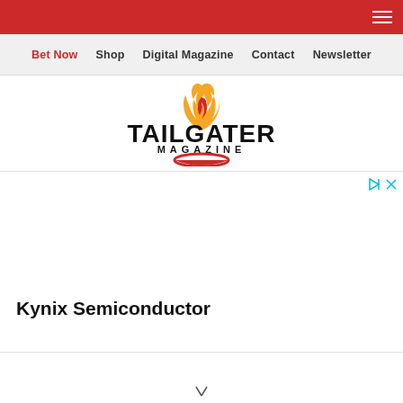Tailgater Magazine website header navigation
Bet Now  Shop  Digital Magazine  Contact  Newsletter
[Figure (logo): Tailgater Magazine logo with flame icon above bold text TAILGATER and smaller text MAGAZINE below, with a red bowl/dish shape at the bottom]
[Figure (other): Advertisement placeholder area with play and close icons in top right, containing text 'Kynix Semiconductor']
Kynix Semiconductor